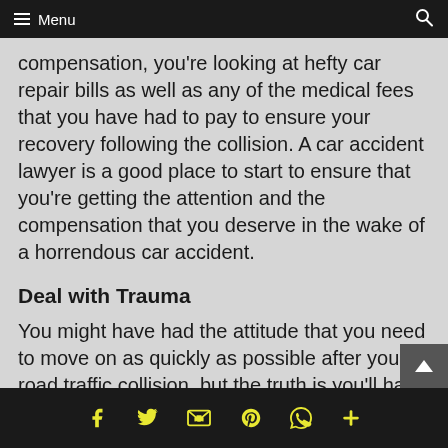Menu
compensation, you're looking at hefty car repair bills as well as any of the medical fees that you have had to pay to ensure your recovery following the collision. A car accident lawyer is a good place to start to ensure that you're getting the attention and the compensation that you deserve in the wake of a horrendous car accident.
Deal with Trauma
You might have had the attitude that you need to move on as quickly as possible after your road traffic collision, but the truth is you'll have a certain amount of built-up trauma to process in the wake of your car accident. Whether you choose to go over this with friends or family, or you instead see a therapist or a counselor, the fact that this trauma is inevitable should make you take the mental health
social share icons: facebook, twitter, email, pinterest, whatsapp, more